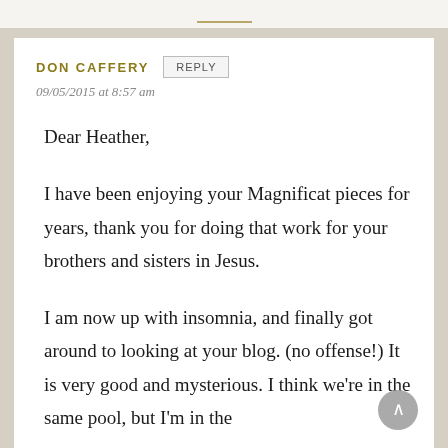DON CAFFERY
REPLY
09/05/2015 at 8:57 am
Dear Heather,

I have been enjoying your Magnificat pieces for years, thank you for doing that work for your brothers and sisters in Jesus.

I am now up with insomnia, and finally got around to looking at your blog. (no offense!) It is very good and mysterious. I think we're in the same pool, but I'm in the